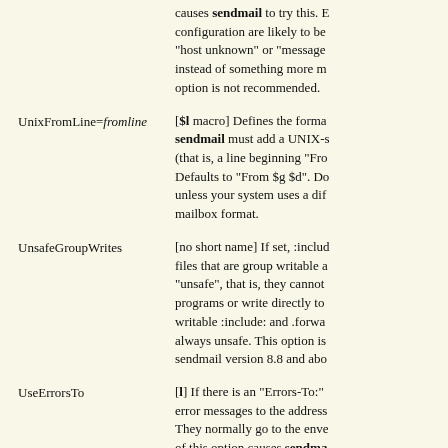causes sendmail to try this. Errors in configuration are likely to be "host unknown" or "message instead of something more meaningful. This option is not recommended.
UnixFromLine=fromline — [$l macro] Defines the format of the from line sendmail must add a UNIX-style mailbox (that is, a line beginning "From"). Defaults to "From $g $d". Do not change unless your system uses a different mailbox format.
UnsafeGroupWrites — [no short name] If set, :include: files that are group writable are "unsafe", that is, they cannot run programs or write directly to files. World writable :include: and .forward files are always unsafe. This option is available in sendmail version 8.8 and above.
UseErrorsTo — [l] If there is an "Errors-To:" header, send error messages to the address it specifies. They normally go to the envelope sender. Use of this option causes sendmail to violate RFC 1123. This option is not recommended.
Verbose — [v] Run in verbose mode. If th